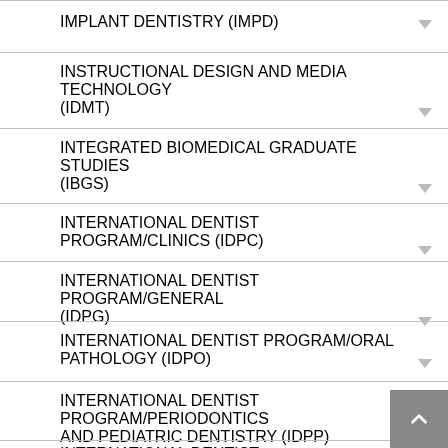IMPLANT DENTISTRY (IMPD)
INSTRUCTIONAL DESIGN AND MEDIA TECHNOLOGY (IDMT)
INTEGRATED BIOMEDICAL GRADUATE STUDIES (IBGS)
INTERNATIONAL DENTIST PROGRAM/CLINICS (IDPC)
INTERNATIONAL DENTIST PROGRAM/GENERAL (IDPG)
INTERNATIONAL DENTIST PROGRAM/ORAL PATHOLOGY (IDPO)
INTERNATIONAL DENTIST PROGRAM/PERIODONTICS AND PEDIATRIC DENTISTRY (IDPP)
INTERNATIONAL DENTIST PROGRAM/RESTORATIVE (IDPR)